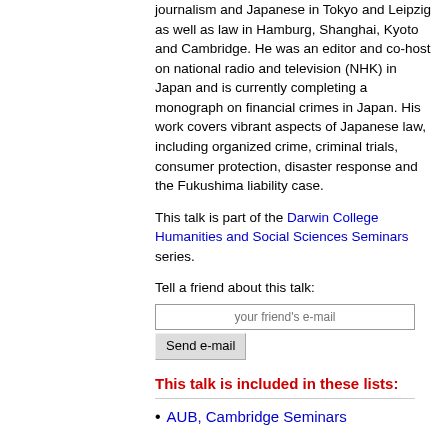journalism and Japanese in Tokyo and Leipzig as well as law in Hamburg, Shanghai, Kyoto and Cambridge. He was an editor and co-host on national radio and television (NHK) in Japan and is currently completing a monograph on financial crimes in Japan. His work covers vibrant aspects of Japanese law, including organized crime, criminal trials, consumer protection, disaster response and the Fukushima liability case.
This talk is part of the Darwin College Humanities and Social Sciences Seminars series.
Tell a friend about this talk:
This talk is included in these lists:
AUB, Cambridge Seminars